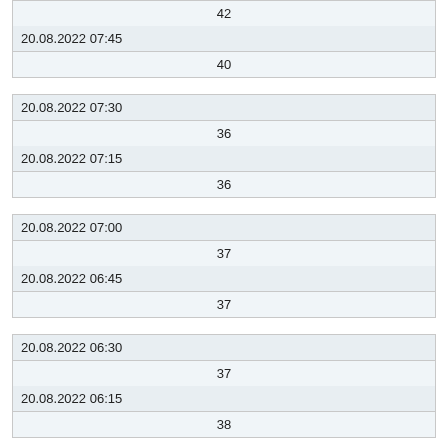| 42 |
| 20.08.2022 07:45 | 40 |
| 20.08.2022 07:30 | 36 |
| 20.08.2022 07:15 | 36 |
| 20.08.2022 07:00 | 37 |
| 20.08.2022 06:45 | 37 |
| 20.08.2022 06:30 | 37 |
| 20.08.2022 06:15 | 38 |
| 20.08.2022 06:00 |  |